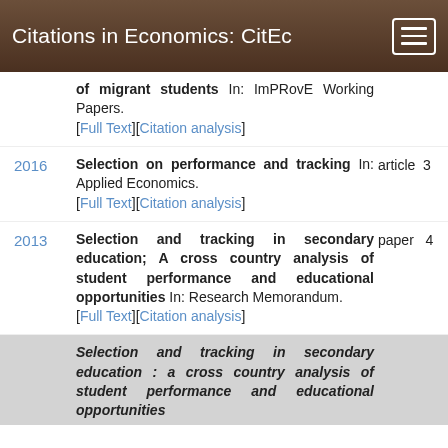Citations in Economics: CitEc
of migrant students In: ImPRovE Working Papers. [Full Text][Citation analysis]
2016 | Selection on performance and tracking In: Applied Economics. [Full Text][Citation analysis] | article 3
2013 | Selection and tracking in secondary education; A cross country analysis of student performance and educational opportunities In: Research Memorandum. [Full Text][Citation analysis] | paper 4
Selection and tracking in secondary education : a cross country analysis of student performance and educational opportunities